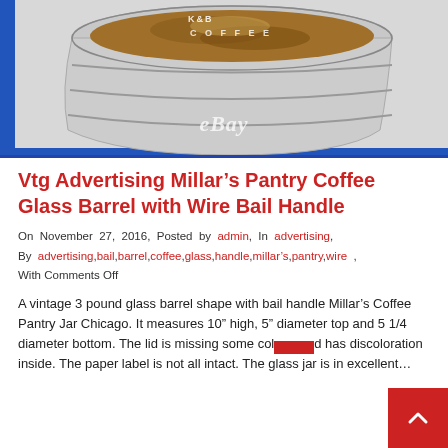[Figure (photo): Photo of a vintage glass barrel-shaped jar with a wire bail handle, showing a partial paper label reading 'COFFEE'. An eBay watermark is visible at the bottom center of the image. The image has a blue border on the left and bottom.]
Vtg Advertising Millar’s Pantry Coffee Glass Barrel with Wire Bail Handle
On November 27, 2016, Posted by admin, In advertising, By advertising,bail,barrel,coffee,glass,handle,millar’s,pantry,wire , With Comments Off
A vintage 3 pound glass barrel shape with bail handle Millar’s Coffee Pantry Jar Chicago. It measures 10” high, 5” diameter top and 5 1/4 diameter bottom. The lid is missing some color and has discoloration inside. The paper label is not all intact. The glass jar is in excellent…